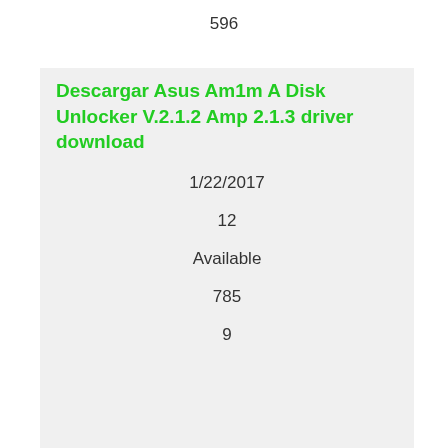596
Descargar Asus Am1m A Disk Unlocker V.2.1.2 Amp 2.1.3 driver download
1/22/2017
12
Available
785
9